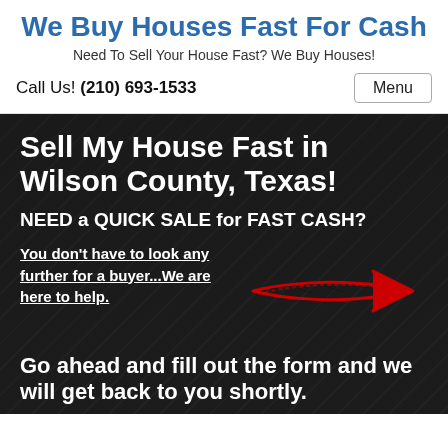We Buy Houses Fast For Cash
Need To Sell Your House Fast? We Buy Houses!
Call Us! (210) 693-1533
Sell My House Fast in Wilson County, Texas!
NEED a QUICK SALE for FAST CASH?
You don't have to look any further for a buyer...We are here to help.
[Figure (illustration): Red drawn arrow pointing to the right]
Go ahead and fill out the form and we will get back to you shortly.